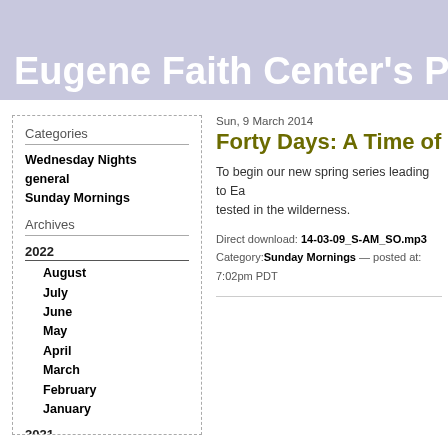Eugene Faith Center's Pod
Categories
Wednesday Nights
general
Sunday Mornings
Archives
2022
August
July
June
May
April
March
February
January
2021
December
November
October
Sun, 9 March 2014
Forty Days: A Time of Re
To begin our new spring series leading to Ea tested in the wilderness.
Direct download: 14-03-09_S-AM_SO.mp3
Category: Sunday Mornings — posted at: 7:02pm PDT